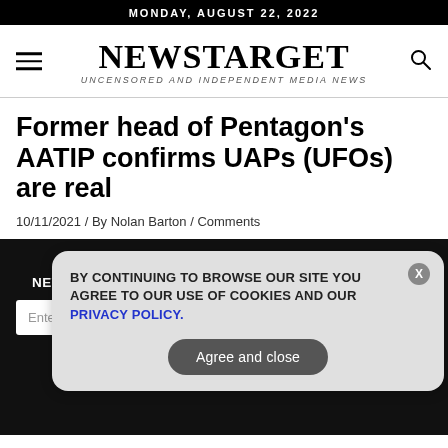MONDAY, AUGUST 22, 2022
NEWSTARGET
UNCENSORED AND INDEPENDENT MEDIA NEWS
Former head of Pentagon's AATIP confirms UAPs (UFOs) are real
10/11/2021 / By Nolan Barton / Comments
GET THE WORLD'S BEST INDEPENDENT MEDIA NEWSLETTER DELIVERED STRAIGHT TO YOUR INBOX.
BY CONTINUING TO BROWSE OUR SITE YOU AGREE TO OUR USE OF COOKIES AND OUR PRIVACY POLICY.
Agree and close